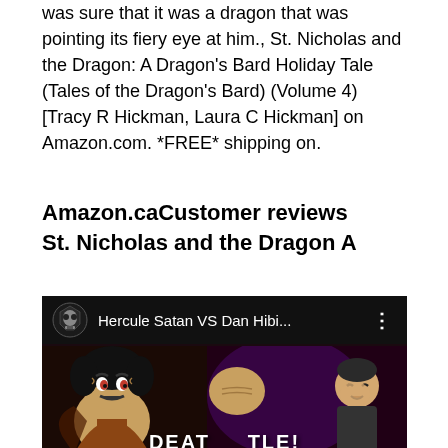was sure that it was a dragon that was pointing its fiery eye at him., St. Nicholas and the Dragon: A Dragon's Bard Holiday Tale (Tales of the Dragon's Bard) (Volume 4) [Tracy R Hickman, Laura C Hickman] on Amazon.com. *FREE* shipping on.
Amazon.caCustomer reviews St. Nicholas and the Dragon A
[Figure (screenshot): Video thumbnail showing 'Hercule Satan VS Dan Hibi...' with a skull icon on the left, three-dot menu on the right, and anime-style characters below with 'DEATH BATTLE' text at the bottom.]